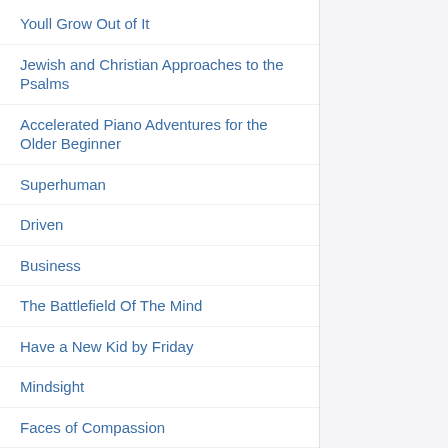Youll Grow Out of It
Jewish and Christian Approaches to the Psalms
Accelerated Piano Adventures for the Older Beginner
Superhuman
Driven
Business
The Battlefield Of The Mind
Have a New Kid by Friday
Mindsight
Faces of Compassion
10 Little Rubber Ducks
Little Book of Mindfulness
Holes Human Anatomy & Physiology